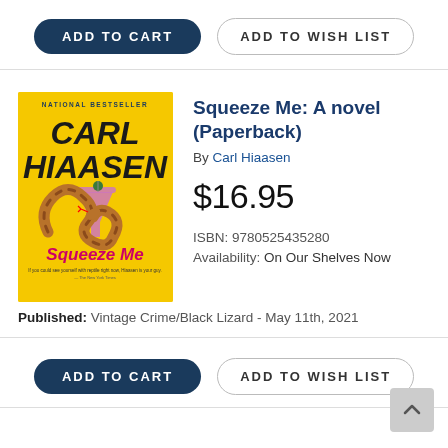[Figure (other): ADD TO CART and ADD TO WISH LIST buttons at top]
[Figure (photo): Book cover of Squeeze Me by Carl Hiaasen - yellow background with a snake coiled around a cocktail glass, pink/purple title text]
Squeeze Me: A novel (Paperback)
By Carl Hiaasen
$16.95
ISBN: 9780525435280
Availability: On Our Shelves Now
Published: Vintage Crime/Black Lizard - May 11th, 2021
[Figure (other): ADD TO CART and ADD TO WISH LIST buttons at bottom]